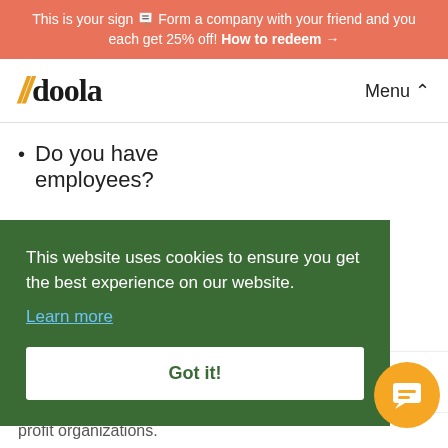This is your sign 🪧 Form a company with your friend and you each get 25% off! How to redeem →
[Figure (logo): doola logo with orange double slash and bold serif wordmark, followed by Menu dropdown button]
Do you have employees?
This website uses cookies to ensure you get the best experience on our website. Learn more
Got it!
profit organizations.